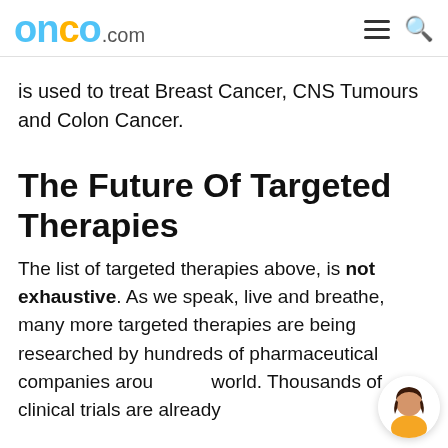onco.com
is used to treat Breast Cancer, CNS Tumours and Colon Cancer.
The Future Of Targeted Therapies
The list of targeted therapies above, is not exhaustive. As we speak, live and breathe, many more targeted therapies are being researched by hundreds of pharmaceutical companies around the world. Thousands of clinical trials are already